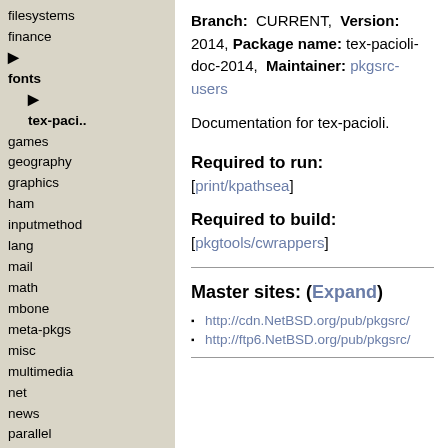filesystems
finance
fonts (bold, selected)
tex-paci.. (bold, indent)
games
geography
graphics
ham
inputmethod
lang
mail
math
mbone
meta-pkgs
misc
multimedia
net
news
parallel
pkgtools
print
regress
security
shells
sysutils
textproc
time
wip
wm
www
Branch: CURRENT, Version: 2014, Package name: tex-pacioli-doc-2014, Maintainer: pkgsrc-users
Documentation for tex-pacioli.
Required to run:
[print/kpathsea]
Required to build:
[pkgtools/cwrappers]
Master sites: (Expand)
http://cdn.NetBSD.org/pub/pkgsrc/
http://ftp6.NetBSD.org/pub/pkgsrc/